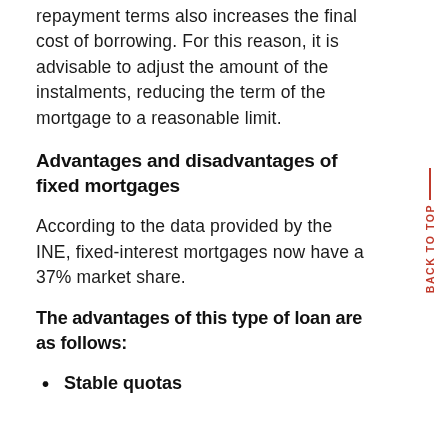repayment terms also increases the final cost of borrowing. For this reason, it is advisable to adjust the amount of the instalments, reducing the term of the mortgage to a reasonable limit.
Advantages and disadvantages of fixed mortgages
According to the data provided by the INE, fixed-interest mortgages now have a 37% market share.
The advantages of this type of loan are as follows:
Stable quotas